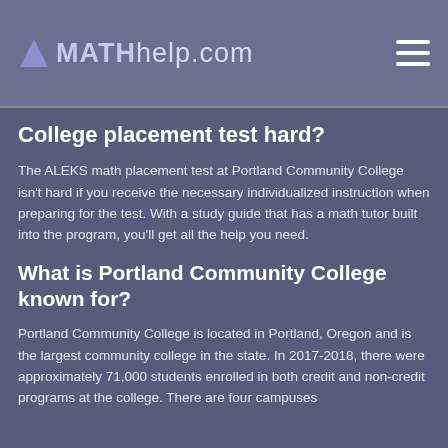MATHhelp.com
College placement test hard?
The ALEKS math placement test at Portland Community College isn't hard if you receive the necessary individualized instruction when preparing for the test. With a study guide that has a math tutor built into the program, you'll get all the help you need.
What is Portland Community College known for?
Portland Community College is located in Portland, Oregon and is the largest community college in the state. In 2017-2018, there were approximately 71,000 students enrolled in both credit and non-credit programs at the college. There are four campuses